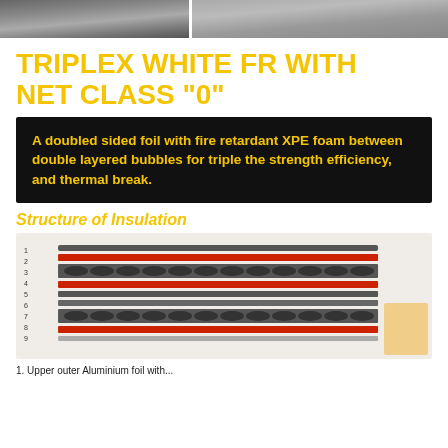[Figure (photo): Top banner with two side-by-side photos of industrial/construction scenes]
TRIPLEX WHITE FR WITH NET CLASS "0"
A doubled sided foil with fire retardant XPE foam between double layered bubbles for triple the strength efficiency, and thermal break.
Structure of Insulation
[Figure (schematic): Cross-section diagram showing 9 numbered layers of insulation: alternating dark grey, red, and bubble layers representing the triplex structure]
1. Upper outer Aluminium foil with...